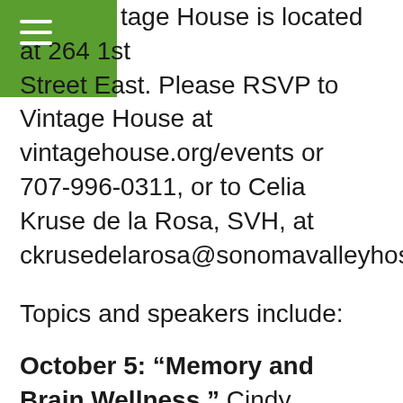tage House is located at 264 1st Street East. Please RSVP to Vintage House at vintagehouse.org/events or 707-996-0311, or to Celia Kruse de la Rosa, SVH, at ckrusedelarosa@sonomavalleyhospital.org.
Topics and speakers include:
October 5: “Memory and Brain Wellness.” Cindy Barton, RN, MSN, GNP, who is associated with UCSF’s Memory and Aging Center, will discuss